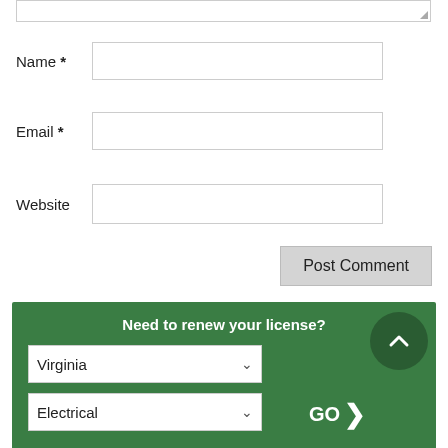[Figure (screenshot): Web form with textarea bottom edge shown, Name, Email, Website text fields, Post Comment button, and a green license renewal widget with Virginia and Electrical dropdowns and a GO button]
Name *
Email *
Website
Post Comment
Need to renew your license?
Virginia
Electrical
GO